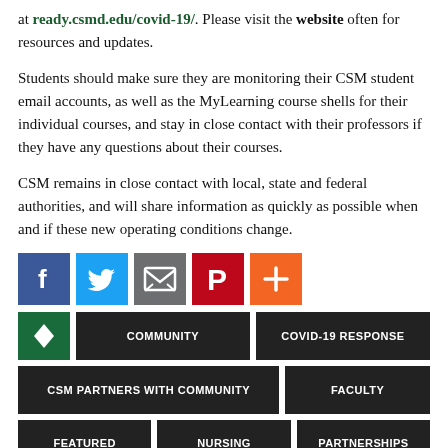at ready.csmd.edu/covid-19/. Please visit the website often for resources and updates.
Students should make sure they are monitoring their CSM student email accounts, as well as the MyLearning course shells for their individual courses, and stay in close contact with their professors if they have any questions about their courses.
CSM remains in close contact with local, state and federal authorities, and will share information as quickly as possible when and if these new operating conditions change.
[Figure (infographic): Social share buttons: Facebook (blue), Twitter (light blue), Email (gray), Pinterest (red), More/Plus (orange)]
Tag icon | COMMUNITY | COVID-19 RESPONSE
CSM PARTNERS WITH COMMUNITY | FACULTY
FEATURED | NURSING | PARTNERSHIPS